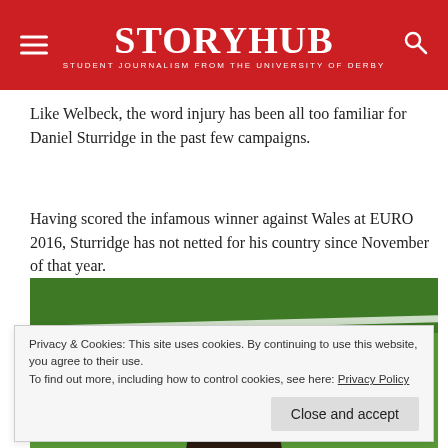StoryHub — Student Journalism from the University of Derby
Like Welbeck, the word injury has been all too familiar for Daniel Sturridge in the past few campaigns.
Having scored the infamous winner against Wales at EURO 2016, Sturridge has not netted for his country since November of that year.
[Figure (photo): A footballer on a green grass pitch, showing the top of their head with curly dark hair, with a white pitch line visible in the background.]
Privacy & Cookies: This site uses cookies. By continuing to use this website, you agree to their use. To find out more, including how to control cookies, see here: Privacy Policy
Close and accept